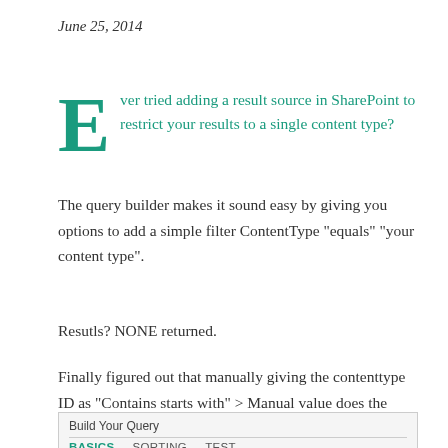June 25, 2014
Ever tried adding a result source in SharePoint to restrict your results to a single content type? The query builder makes it sound easy by giving you options to add a simple filter ContentType "equals" "your content type".
Resutls? NONE returned.
Finally figured out that manually giving the contenttype ID as "Contains starts with" > Manual value does the trick!
[Figure (screenshot): UI panel showing 'Build Your Query' dialog with tabs: BASICS, SORTING, TEST]